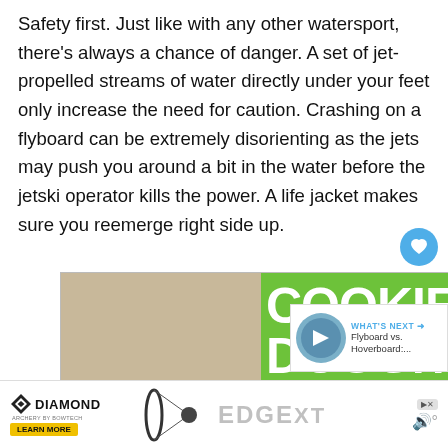Safety first. Just like with any other watersport, there's always a chance of danger. A set of jet-propelled streams of water directly under your feet only increase the need for caution. Crashing on a flyboard can be extremely disorienting as the jets may push you around a bit in the water before the jetski operator kills the power. A life jacket makes sure you reemerge right side up.
[Figure (screenshot): Cookie Dough advertisement with child smiling, green background with white bold text reading COOKIE DOUGH, and 'Childhood cancer' text below]
[Figure (screenshot): WHAT'S NEXT arrow label with thumbnail image and text: Flyboard vs. Hoverboard:...]
[Figure (screenshot): Diamond Archery advertisement with EDGE XT text and Learn More button]